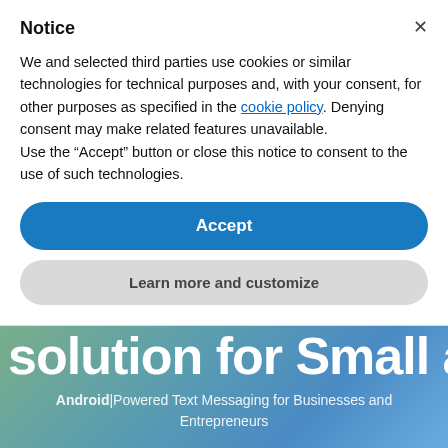Notice
We and selected third parties use cookies or similar technologies for technical purposes and, with your consent, for other purposes as specified in the cookie policy. Denying consent may make related features unavailable.
Use the “Accept” button or close this notice to consent to the use of such technologies.
Accept
Learn more and customize
solution for Small and M|
Android|Powered Text Messaging for Businesses and Entrepreneurs